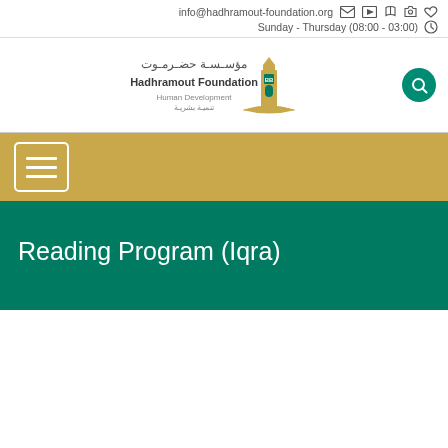info@hadhramout-foundation.org  Sunday - Thursday (08:00 - 03:00)
[Figure (logo): Hadhramout Foundation Human Development logo with Arabic text and tower/book emblem]
Reading Program (Iqra)